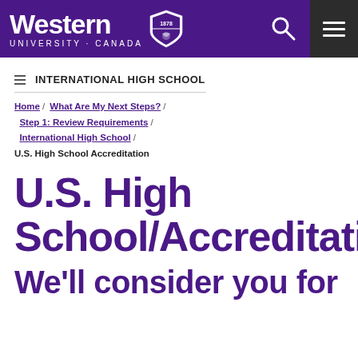[Figure (logo): Western University Canada logo with shield and text on purple header bar with search and hamburger menu icons]
INTERNATIONAL HIGH SCHOOL
Home / What Are My Next Steps? / Step 1: Review Requirements / International High School / U.S. High School Accreditation
U.S. High School/Accreditation
We'll consider you for